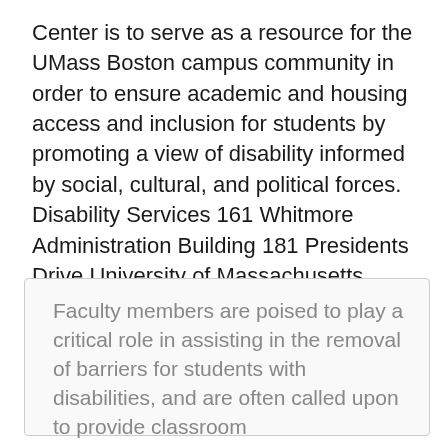Center is to serve as a resource for the UMass Boston campus community in order to ensure academic and housing access and inclusion for students by promoting a view of disability informed by social, cultural, and political forces. Disability Services 161 Whitmore Administration Building 181 Presidents Drive University of Massachusetts Amherst, MA 01003-9313. Phone (V/TTY): 413.545.0892 Contacting General Medicine and Counseling Services. IT help. Our Mission .
Faculty members are poised to play a critical role in assisting in the removal of barriers for students with disabilities, and are often called upon to provide classroom accommodations directly.